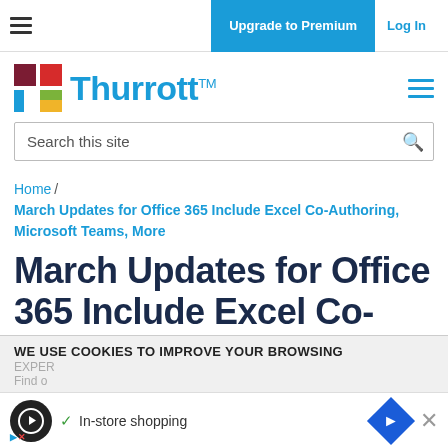≡  Upgrade to Premium  Log In
[Figure (logo): Thurrott logo with colored T icon and blue Thurrott text with TM mark]
Search this site
Home / March Updates for Office 365 Include Excel Co-Authoring, Microsoft Teams, More
March Updates for Office 365 Include Excel Co-Authoring, Microsoft Teams, More
WE USE COOKIES TO IMPROVE YOUR BROWSING EXPER...
Find o... ✓ In-store shopping ×